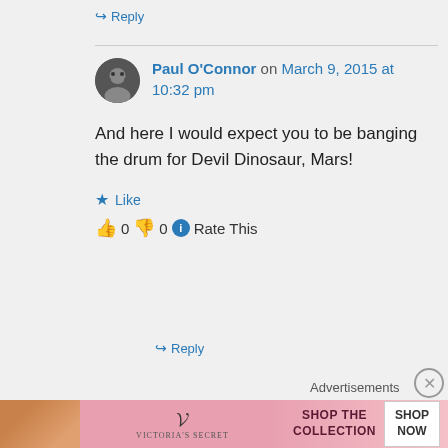↪ Reply
Paul O'Connor on March 9, 2015 at 10:32 pm
And here I would expect you to be banging the drum for Devil Dinosaur, Mars!
★ Like
👍 0 👎 0 ℹ Rate This
↪ Reply
Advertisements
[Figure (photo): Victoria's Secret advertisement banner with a woman and text SHOP THE COLLECTION, SHOP NOW]